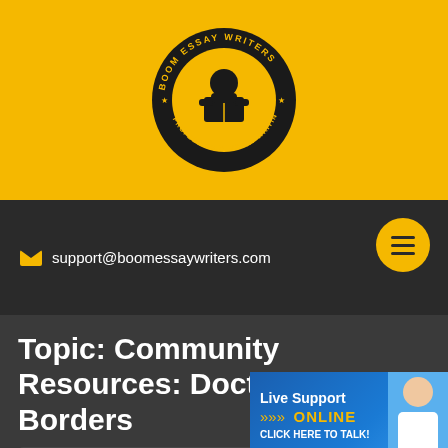[Figure (logo): Boom Essay Writers circular logo on yellow background — person reading a book in center, text 'BOOM ESSAY WRITERS' and 'PROFESSIONAL ESSAY WRITING SERVICES' around edge]
support@boomessaywriters.com
Topic: Community Resources: Doctors Without Borders
February 19, 2020 | 3:40 pm
[Figure (screenshot): Live Support online chat widget — blue background, 'Live Support' heading, chevron arrows with 'ONLINE' in yellow, 'CLICK HERE TO TALK!' text, female agent photo on right]